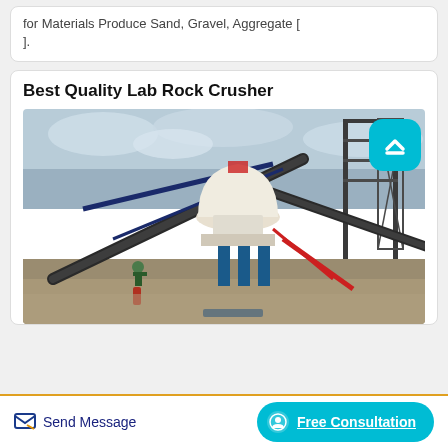for Materials Produce Sand, Gravel, Aggregate [ ].
Best Quality Lab Rock Crusher
[Figure (photo): Industrial rock crushing facility with large conveyor belts, a cone crusher in the center, steel framework structures, and a worker standing on sandy ground. Overcast sky in background.]
Send Message
Free Consultation